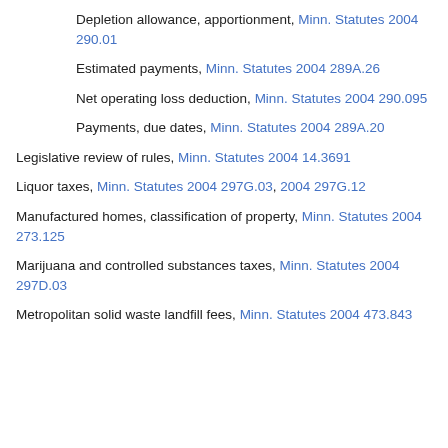Depletion allowance, apportionment, Minn. Statutes 2004 290.01
Estimated payments, Minn. Statutes 2004 289A.26
Net operating loss deduction, Minn. Statutes 2004 290.095
Payments, due dates, Minn. Statutes 2004 289A.20
Legislative review of rules, Minn. Statutes 2004 14.3691
Liquor taxes, Minn. Statutes 2004 297G.03, 2004 297G.12
Manufactured homes, classification of property, Minn. Statutes 2004 273.125
Marijuana and controlled substances taxes, Minn. Statutes 2004 297D.03
Metropolitan solid waste landfill fees, Minn. Statutes 2004 473.843